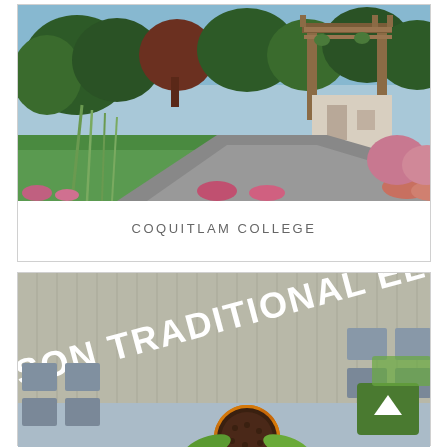[Figure (photo): Outdoor photo of Coquitlam College entrance with a pergola/gate structure, lush green trees, garden flowers, and a paved pathway on a sunny day.]
COQUITLAM COLLEGE
[Figure (photo): Photo of a school building exterior with metal cladding showing text 'STON TRADITIONAL ELEM...' on the facade, with a large orange sunflower in the foreground and a green scroll/back-to-top button overlay in the bottom right.]